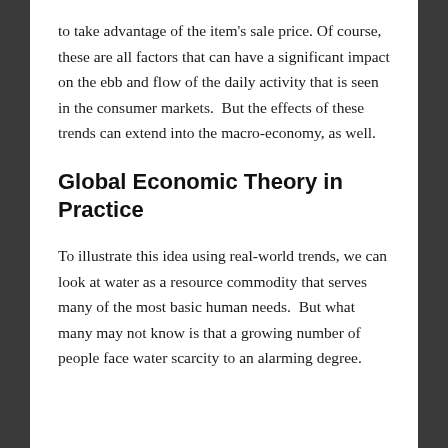to take advantage of the item's sale price. Of course, these are all factors that can have a significant impact on the ebb and flow of the daily activity that is seen in the consumer markets.  But the effects of these trends can extend into the macro-economy, as well.
Global Economic Theory in Practice
To illustrate this idea using real-world trends, we can look at water as a resource commodity that serves many of the most basic human needs.  But what many may not know is that a growing number of people face water scarcity to an alarming degree.